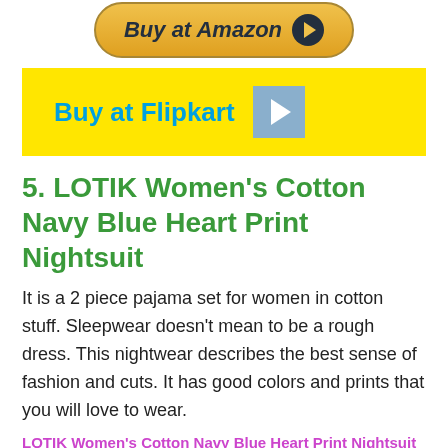[Figure (illustration): Buy at Amazon button with golden rounded rectangle and dark play circle]
[Figure (illustration): Buy at Flipkart button with yellow rectangle background and grey play triangle]
5. LOTIK Women’s Cotton Navy Blue Heart Print Nightsuit
It is a 2 piece pajama set for women in cotton stuff. Sleepwear doesn’t mean to be a rough dress. This nightwear describes the best sense of fashion and cuts. It has good colors and prints that you will love to wear.
LOTIK Women's Cotton Navy Blue Heart Print Nightsuit
[Figure (photo): Partial photo of a woman model wearing the nightsuit, showing upper portion of figure]